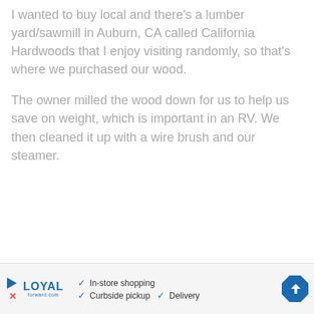I wanted to buy local and there's a lumber yard/sawmill in Auburn, CA called California Hardwoods that I enjoy visiting randomly, so that's where we purchased our wood.
The owner milled the wood down for us to help us save on weight, which is important in an RV. We then cleaned it up with a wire brush and our steamer.
[Figure (infographic): Advertisement banner for Loyal company showing logo, checkmarks for In-store shopping, Curbside pickup, Delivery, and a blue navigation arrow icon.]